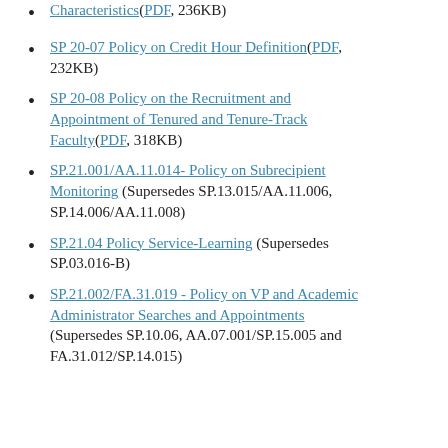Characteristics(PDF, 236KB)
SP 20-07 Policy on Credit Hour Definition(PDF, 232KB)
SP 20-08 Policy on the Recruitment and Appointment of Tenured and Tenure-Track Faculty(PDF, 318KB)
SP.21.001/AA.11.014- Policy on Subrecipient Monitoring (Supersedes SP.13.015/AA.11.006, SP.14.006/AA.11.008)
SP.21.04 Policy Service-Learning (Supersedes SP.03.016-B)
SP.21.002/FA.31.019 - Policy on VP and Academic Administrator Searches and Appointments (Supersedes SP.10.06, AA.07.001/SP.15.005 and FA.31.012/SP.14.015)